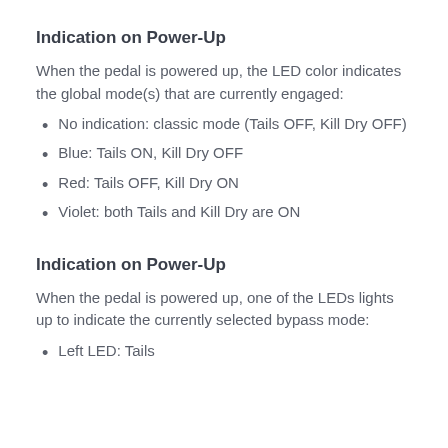Indication on Power-Up
When the pedal is powered up, the LED color indicates the global mode(s) that are currently engaged:
No indication: classic mode (Tails OFF, Kill Dry OFF)
Blue: Tails ON, Kill Dry OFF
Red: Tails OFF, Kill Dry ON
Violet: both Tails and Kill Dry are ON
Indication on Power-Up
When the pedal is powered up, one of the LEDs lights up to indicate the currently selected bypass mode:
Left LED: Tails